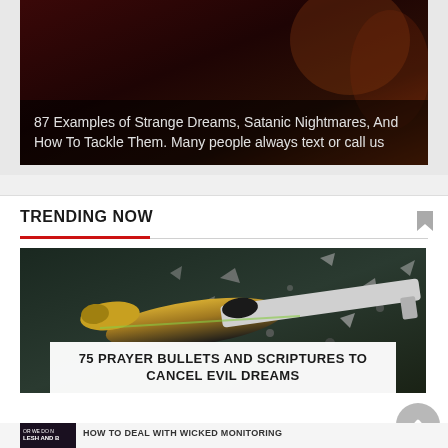[Figure (photo): Dark reddish-brown background image with text overlay about strange dreams]
87 Examples of Strange Dreams, Satanic Nightmares, And How To Tackle Them. Many people always text or call us
TRENDING NOW
[Figure (photo): Action image of a bullet or missile projectile with debris and glass shards flying around it]
75 PRAYER BULLETS AND SCRIPTURES TO CANCEL EVIL DREAMS
[Figure (photo): Small thumbnail image with text overlay for article about wicked monitoring]
HOW TO DEAL WITH WICKED MONITORING